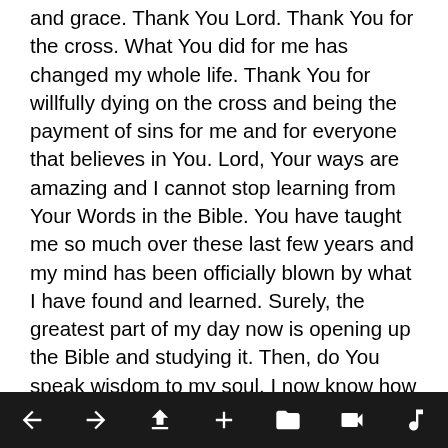and grace. Thank You Lord. Thank You for the cross. What You did for me has changed my whole life. Thank You for willfully dying on the cross and being the payment of sins for me and for everyone that believes in You. Lord, Your ways are amazing and I cannot stop learning from Your Words in the Bible. You have taught me so much over these last few years and my mind has been officially blown by what I have found and learned. Surely, the greatest part of my day now is opening up the Bible and studying it. Then, do You speak wisdom to my soul. I now know how to live my life and be fruitful in Your sight, because Your Words are in my heart continually. They are a lamp unto my feet and I love every You've spoken. You have lighted up my life and I am so happy. There is more joy now than any time in the past. I love You Lord. My heart cries
[toolbar navigation icons]